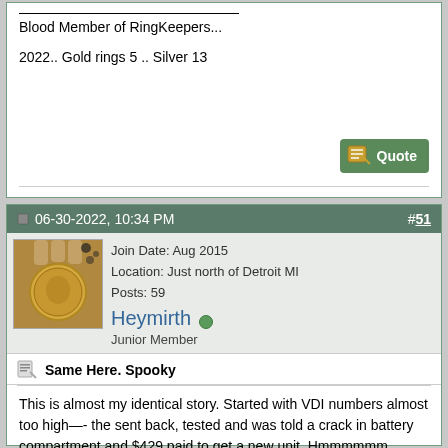Blood Member of RingKeepers...
2022.. Gold rings 5 .. Silver 13
06-30-2022, 10:34 PM
#51
[Figure (photo): User avatar photo showing a gold coin held between fingers]
Heymirth
Junior Member
Join Date: Aug 2015
Location: Just north of Detroit MI
Posts: 59
Same Here. Spooky
This is almost my identical story. Started with VDI numbers almost too high—- the sent back, tested and was told a crack in battery compartment and $429 paid to get a new unit. Hmmmmmm